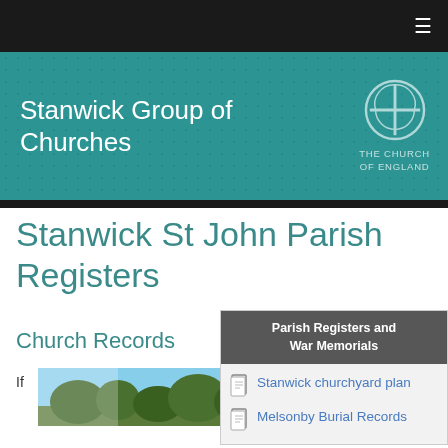Stanwick Group of Churches — The Church of England
Stanwick St John Parish Registers
Church Records
If
[Figure (photo): Partial photograph of a church surrounded by trees against a blue sky]
| Parish Registers and War Memorials |
| --- |
| Stanwick churchyard plan |
| Melsonby Burial Records |